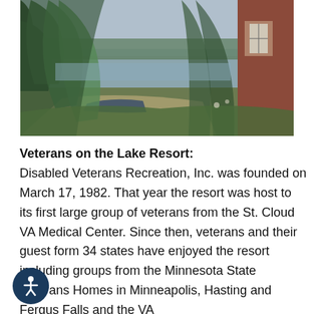[Figure (photo): Outdoor lakeside scene with trees, a beached boat, lake water in the background, and the corner of a brick building on the right side.]
Veterans on the Lake Resort: Disabled Veterans Recreation, Inc. was founded on March 17, 1982. That year the resort was host to its first large group of veterans from the St. Cloud VA Medical Center. Since then, veterans and their guest form 34 states have enjoyed the resort including groups from the Minnesota State Veterans Homes in Minneapolis, Hasting and Fergus Falls and the VA